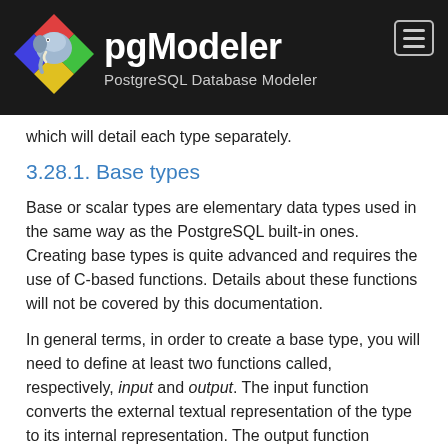pgModeler — PostgreSQL Database Modeler
which will detail each type separately.
3.28.1. Base types
Base or scalar types are elementary data types used in the same way as the PostgreSQL built-in ones. Creating base types is quite advanced and requires the use of C-based functions. Details about these functions will not be covered by this documentation.
In general terms, in order to create a base type, you will need to define at least two functions called, respectively, input and output. The input function converts the external textual representation of the type to its internal representation. The output function